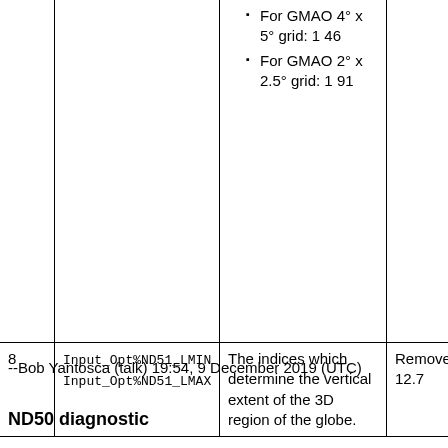|  |  |  |  |
| --- | --- | --- | --- |
|  |  | For GMAO 4° x 5° grid: 1 46
For GMAO 2° x 2.5° grid: 1 91 |  |
| 8 | Input_Opt%ND51_LMIN
Input_Opt%ND51_LMAX | The indices which determine the vertical extent of the 3D region of the globe. | Removed in 12.7 |
--Bob Yantosca (talk) 19:54, 9 December 2019 (UTC)
ND50 diagnostic